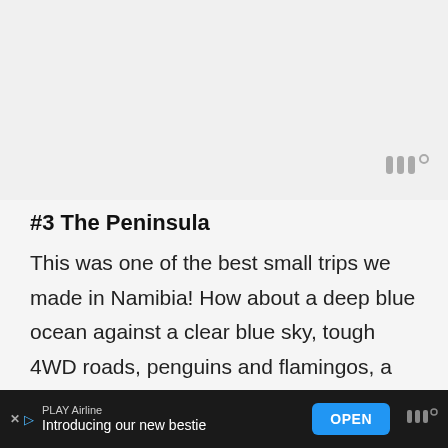[Figure (photo): Light gray placeholder area representing an image at the top of the page]
[Figure (logo): Watermark/logo mark in gray: three vertical strokes with a degree symbol, positioned top-right of image area]
#3 The Peninsula
This was one of the best small trips we made in Namibia! How about a deep blue ocean against a clear blue sky, tough 4WD roads, penguins and flamingos, a red saltwater lake and a light house. And all of
[Figure (screenshot): Ad banner at bottom: PLAY Airline ad with text 'Introducing our new bestie' and OPEN button]